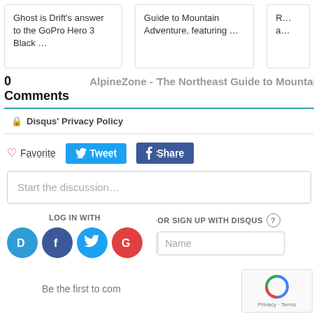Ghost is Drift's answer to the GoPro Hero 3 Black …
Guide to Mountain Adventure, featuring …
0 Comments   AlpineZone - The Northeast Guide to Mountain
🔒 Disqus' Privacy Policy
♡ Favorite   Tweet   Share
Start the discussion…
LOG IN WITH
OR SIGN UP WITH DISQUS ?
Name
Be the first to com…